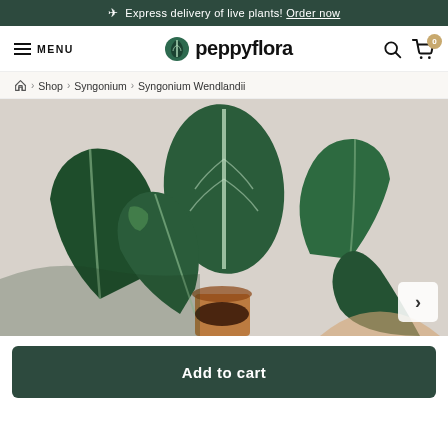✈ Express delivery of live plants! Order now
peppyflora
Home › Shop › Syngonium › Syngonium Wendlandii
[Figure (photo): Photo of a Syngonium Wendlandii plant with large dark green leaves with white veins, held against a beige/grey background, in a terracotta pot.]
Add to cart